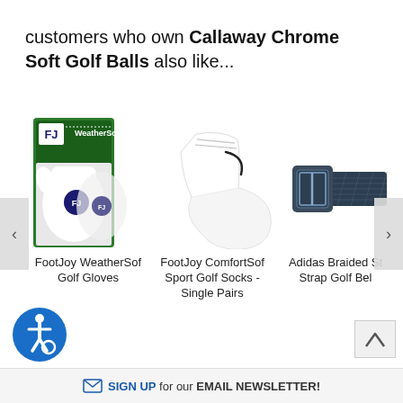customers who own Callaway Chrome Soft Golf Balls also like...
[Figure (other): FootJoy WeatherSof Golf Gloves product image - white golf gloves with FJ branding in green packaging]
FootJoy WeatherSof Golf Gloves
[Figure (other): FootJoy ComfortSof Sport Golf Socks - Single Pairs product image - white low-cut ankle sock]
FootJoy ComfortSof Sport Golf Socks - Single Pairs
[Figure (other): Adidas Braided Stretch Strap Golf Belt product image - navy blue braided belt with buckle]
Adidas Braided St Strap Golf Bel
[Figure (logo): Blue circular accessibility icon]
SIGN UP for our EMAIL NEWSLETTER!